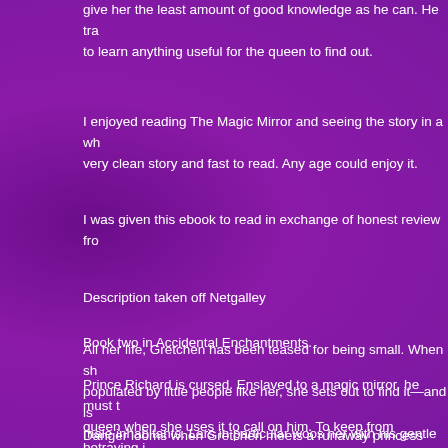give her the least amount of good knowledge as he can. He tra to learn anything useful for the queen to find out.
I enjoyed reading The Magic Mirror and seeing the story in a wh very clean story and fast to read. Any age could enjoy it.
I was given this ebook to read in exchange of honest review fro
Description taken off Netgalley
Book two in Accidental Enchantments.
Prince Richard is cursed. Enslaved to a magic mirror, he must t queen when she uses it to call on him. To keep from betraying i wanders the countryside and avoids people.
All her life, Gretchen has been teased for being small. When sh populated by little people like her, she sets out to find it—and is male inhabitants. Lars in particular woos her with his gentle kin
Danger looms when Gretchen meets a runaway princess and o Little Farm. Wandering nearby, Richard instantly falls in love wit